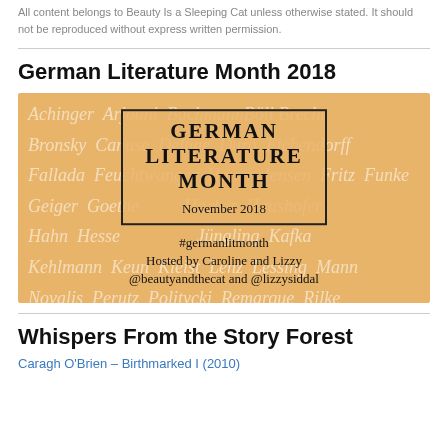All content belongs to Beauty Is a Sleeping Cat unless otherwise stated. It should not be reproduced without express written permission.
German Literature Month 2018
[Figure (illustration): German Literature Month 2018 banner. Orange/golden background with cursive white author names. Center box reads: GERMAN LITERATURE MONTH, November 2018, #germanlitmonth, Hosted by Caroline and Lizzy, @beautyandthecat and @lizzysiddal]
Whispers From the Story Forest
Caragh O'Brien – Birthmarked I (2010)